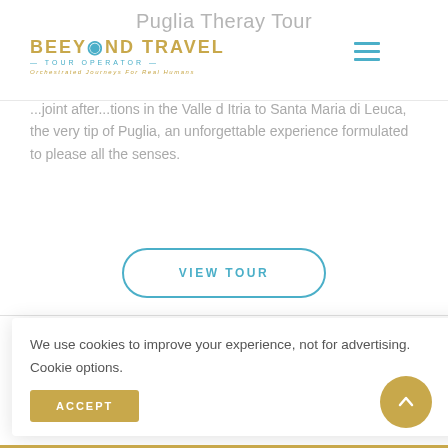Puglia Theray Tour
[Figure (logo): Beeyond Travel Tour Operator logo with golden text, teal underline, and teal hamburger menu icon]
...joint after...tions in the Valle d Itria to Santa Maria di Leuca, the very tip of Puglia, an unforgettable experience formulated to please all the senses.
VIEW TOUR
We use cookies to improve your experience, not for advertising. Cookie options.
ACCEPT